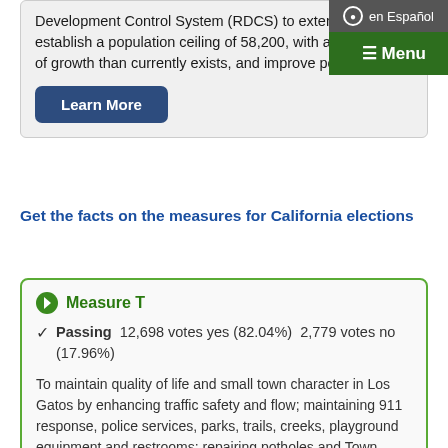Development Control System (RDCS) to extend it to 2035, establish a population ceiling of 58,200, with a slower rate of growth than currently exists, and improve policies
Learn More
Get the facts on the measures for California elections
Measure T
Passing  12,698 votes yes (82.04%)  2,779 votes no (17.96%)
To maintain quality of life and small town character in Los Gatos by enhancing traffic safety and flow; maintaining 911 response, police services, parks, trails, creeks, playground equipment and restrooms; repairing potholes and Town facilities; beautifying